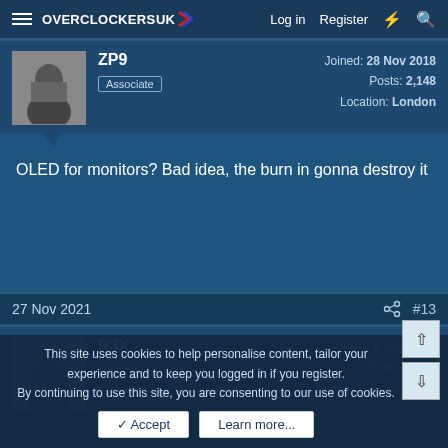Overclockers UK — Log in  Register
ZP9  Associate  Joined: 28 Nov 2018  Posts: 2,148  Location: London
OLED for monitors? Bad idea, the burn in gonna destroy it
27 Nov 2021  #13
R3X  Soldato  Joined: 9 Aug 2013  Posts: 3,264
This site uses cookies to help personalise content, tailor your experience and to keep you logged in if you register.
By continuing to use this site, you are consenting to our use of cookies.